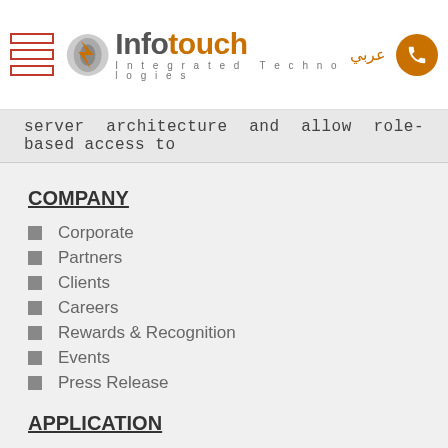Infotouch Integrated Technologies
server architecture and allow role-based access to
COMPANY
Corporate
Partners
Clients
Careers
Rewards & Recognition
Events
Press Release
APPLICATION
Portals & Collaboration
Document Management
Business Intelligence
Mobile Apps